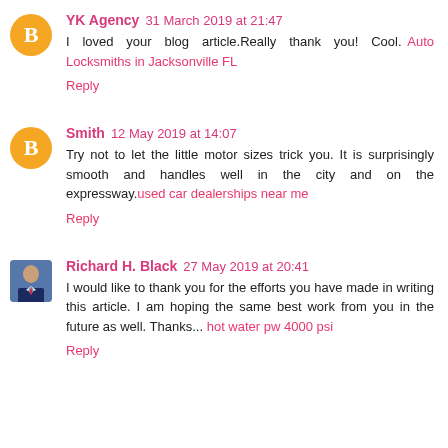YK Agency 31 March 2019 at 21:47
I loved your blog article.Really thank you! Cool. Auto Locksmiths in Jacksonville FL
Reply
Smith 12 May 2019 at 14:07
Try not to let the little motor sizes trick you. It is surprisingly smooth and handles well in the city and on the expressway.used car dealerships near me
Reply
Richard H. Black 27 May 2019 at 20:41
I would like to thank you for the efforts you have made in writing this article. I am hoping the same best work from you in the future as well. Thanks... hot water pw 4000 psi
Reply